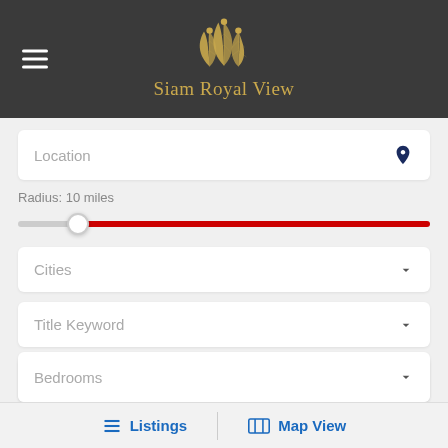Siam Royal View
Location
Radius: 10 miles
Cities
Title Keyword
Types
Rooms
Listings
Map View
Bedrooms